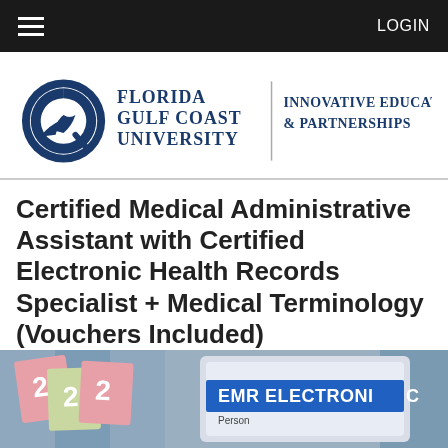LOGIN
[Figure (logo): Florida Gulf Coast University – Innovative Education & Partnerships logo with bird emblem]
Certified Medical Administrative Assistant with Certified Electronic Health Records Specialist + Medical Terminology (Vouchers Included)
[Figure (photo): Photo of EMR Electronic medical records tablet and colorful numbered file cards]